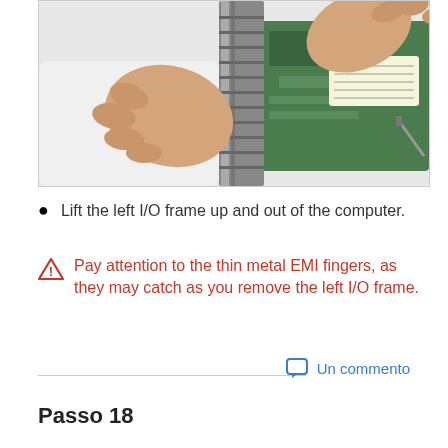[Figure (photo): Hands lifting the left I/O frame up and out of a laptop computer, showing the metal frame and green circuit board inside.]
Lift the left I/O frame up and out of the computer.
Pay attention to the thin metal EMI fingers, as they may catch as you remove the left I/O frame.
Un commento
Passo 18